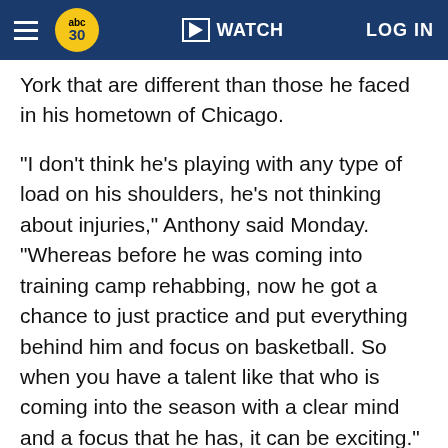abc30 WATCH LOG IN
York that are different than those he faced in his hometown of Chicago.
"I don't think he's playing with any type of load on his shoulders, he's not thinking about injuries," Anthony said Monday. "Whereas before he was coming into training camp rehabbing, now he got a chance to just practice and put everything behind him and focus on basketball. So when you have a talent like that who is coming into the season with a clear mind and a focus that he has, it can be exciting."
RELATED VIDEO
Rose confident headed into season
Rose confident headed into season